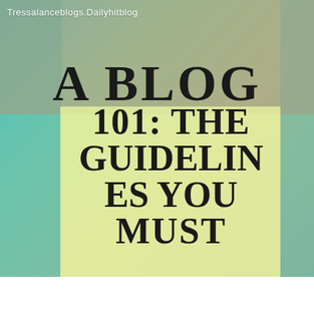Tressalanceblogs.Dailyhitblog
A BLOG 101: THE GUIDELINES YOU MUST